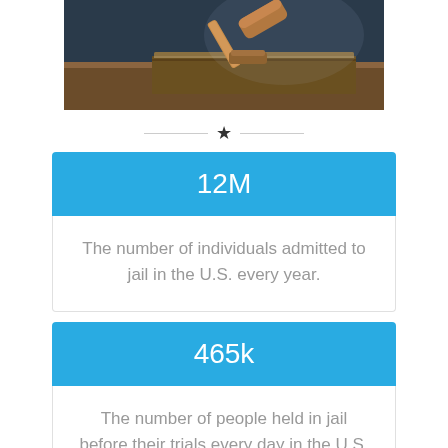[Figure (photo): A wooden judge's gavel resting on top of a thick law book on a wooden table, dark blue background]
★
12M
The number of individuals admitted to jail in the U.S. every year.
465k
The number of people held in jail before their trials every day in the U.S. — often